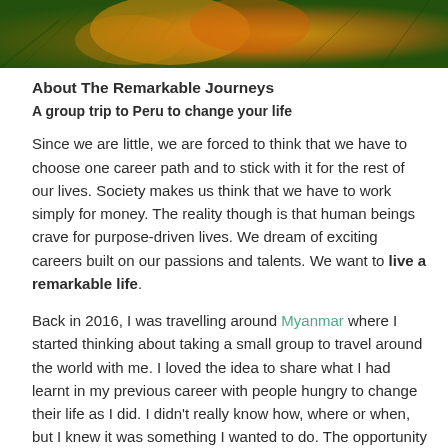[Figure (photo): Close-up photograph of colorful plants or foliage with orange, yellow, and green tones at the top of the page]
About The Remarkable Journeys
A group trip to Peru to change your life
Since we are little, we are forced to think that we have to choose one career path and to stick with it for the rest of our lives. Society makes us think that we have to work simply for money. The reality though is that human beings crave for purpose-driven lives. We dream of exciting careers built on our passions and talents. We want to live a remarkable life.
Back in 2016, I was travelling around Myanmar where I started thinking about taking a small group to travel around the world with me. I loved the idea to share what I had learnt in my previous career with people hungry to change their life as I did. I didn't really know how, where or when, but I knew it was something I wanted to do. The opportunity came when I met the guys at Sharewood. We bonded over coffee and